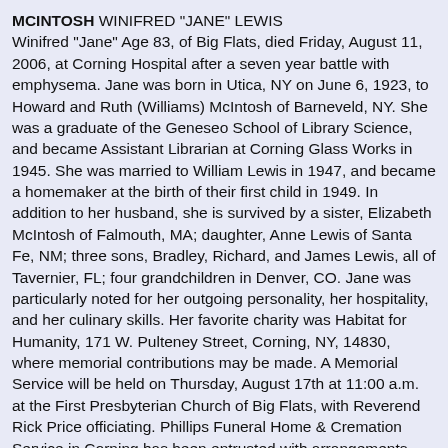MCINTOSH WINIFRED "JANE" LEWIS
Winifred "Jane" Age 83, of Big Flats, died Friday, August 11, 2006, at Corning Hospital after a seven year battle with emphysema. Jane was born in Utica, NY on June 6, 1923, to Howard and Ruth (Williams) McIntosh of Barneveld, NY. She was a graduate of the Geneseo School of Library Science, and became Assistant Librarian at Corning Glass Works in 1945. She was married to William Lewis in 1947, and became a homemaker at the birth of their first child in 1949. In addition to her husband, she is survived by a sister, Elizabeth McIntosh of Falmouth, MA; daughter, Anne Lewis of Santa Fe, NM; three sons, Bradley, Richard, and James Lewis, all of Tavernier, FL; four grandchildren in Denver, CO. Jane was particularly noted for her outgoing personality, her hospitality, and her culinary skills. Her favorite charity was Habitat for Humanity, 171 W. Pulteney Street, Corning, NY, 14830, where memorial contributions may be made. A Memorial Service will be held on Thursday, August 17th at 11:00 a.m. at the First Presbyterian Church of Big Flats, with Reverend Rick Price officiating. Phillips Funeral Home & Cremation Service in Corning has been entrusted with arrangements.
O'BRYAN Robert J. "Bob" Age 80, of Horseheads, NY, passed into eternal rest on Saturday, August 12, 2006. He was surrounded by his loving family at St. Joseph's Hospital. Robert was born in